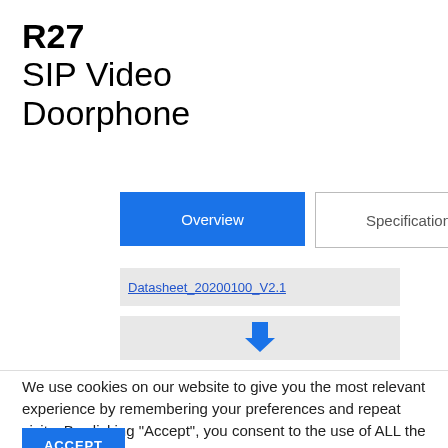R27
SIP Video Doorphone
Overview
Specification
Datasheet_20200100_V2.1
[Figure (other): Download icon in blue on grey background bar]
We use cookies on our website to give you the most relevant experience by remembering your preferences and repeat visits. By clicking “Accept”, you consent to the use of ALL the cookies.
ACCEPT